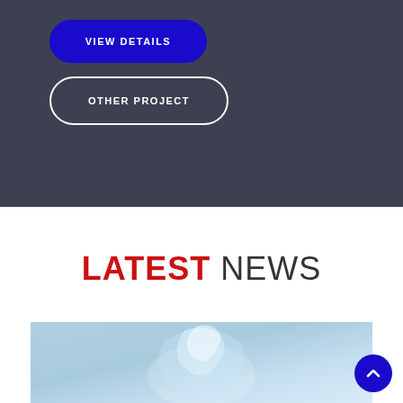[Figure (screenshot): Dark grey background section of a website with two buttons]
VIEW DETAILS
OTHER PROJECT
LATEST NEWS
[Figure (photo): Light blue water or sky image strip at the bottom]
[Figure (other): Dark blue circular scroll-to-top button with up chevron arrow]